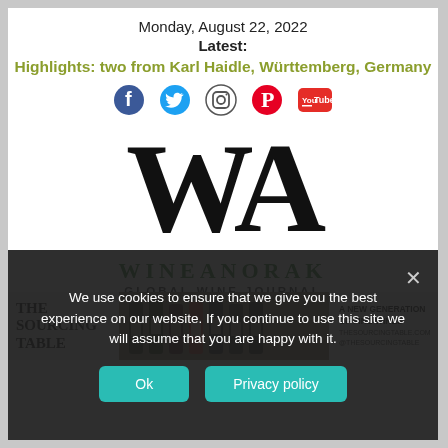Monday, August 22, 2022
Latest:
Highlights: two from Karl Haidle, Württemberg, Germany
[Figure (other): Social media icons: Facebook, Twitter, Instagram, Pinterest, YouTube]
[Figure (logo): WineAnorak Global Wine Journal logo with large WA monogram letters]
[Figure (other): The Sourcing Table advertisement banner with wine bottles]
We use cookies to ensure that we give you the best experience on our website. If you continue to use this site we will assume that you are happy with it.
Ok
Privacy policy